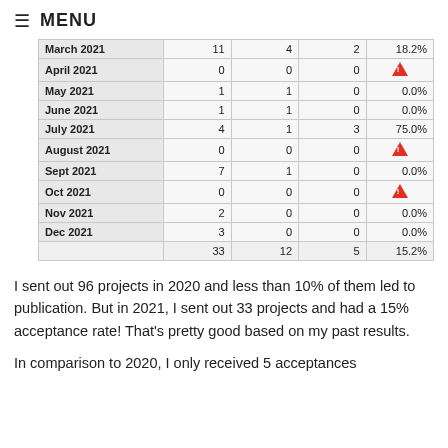≡ MENU
|  |  |  |  |  |
| --- | --- | --- | --- | --- |
| March 2021 | 11 | 4 | 2 | 18.2% |
| April 2021 | 0 | 0 | 0 | ⚠ |
| May 2021 | 1 | 1 | 0 | 0.0% |
| June 2021 | 1 | 1 | 0 | 0.0% |
| July 2021 | 4 | 1 | 3 | 75.0% |
| August 2021 | 0 | 0 | 0 | ⚠ |
| Sept 2021 | 7 | 1 | 0 | 0.0% |
| Oct 2021 | 0 | 0 | 0 | ⚠ |
| Nov 2021 | 2 | 0 | 0 | 0.0% |
| Dec 2021 | 3 | 0 | 0 | 0.0% |
|  | 33 | 12 | 5 | 15.2% |
I sent out 96 projects in 2020 and less than 10% of them led to publication. But in 2021, I sent out 33 projects and had a 15% acceptance rate! That's pretty good based on my past results.
In comparison to 2020, I only received 5 acceptances